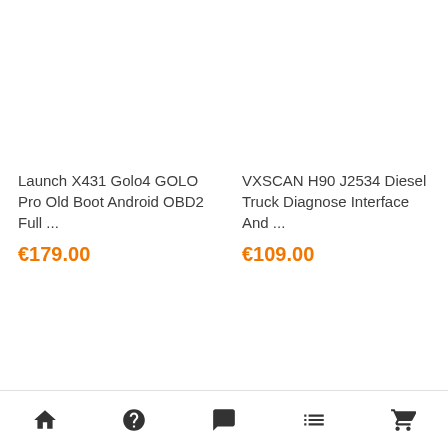Launch X431 Golo4 GOLO Pro Old Boot Android OBD2 Full ...
€179.00
VXSCAN H90 J2534 Diesel Truck Diagnose Interface And ...
€109.00
Home | Help | Chat | List | Cart